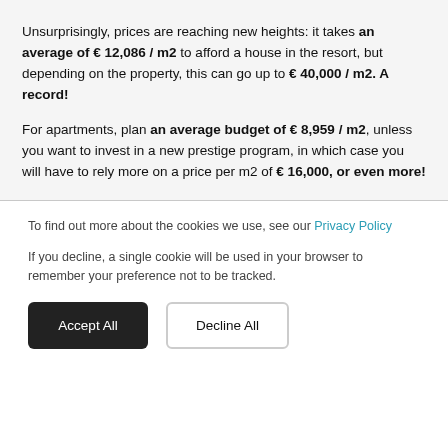Unsurprisingly, prices are reaching new heights: it takes an average of € 12,086 / m2 to afford a house in the resort, but depending on the property, this can go up to € 40,000 / m2. A record!
For apartments, plan an average budget of € 8,959 / m2, unless you want to invest in a new prestige program, in which case you will have to rely more on a price per m2 of € 16,000, or even more!
To find out more about the cookies we use, see our Privacy Policy
If you decline, a single cookie will be used in your browser to remember your preference not to be tracked.